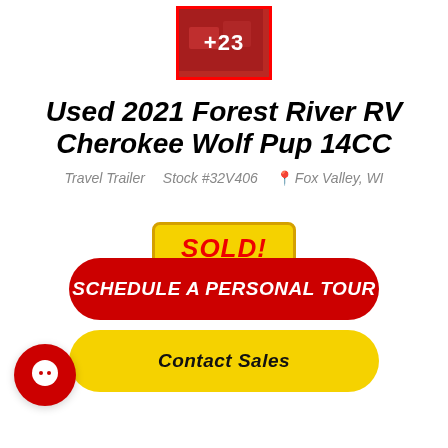[Figure (photo): Thumbnail image of RV interior with red overlay showing +23 more photos indicator]
Used 2021 Forest River RV Cherokee Wolf Pup 14CC
Travel Trailer   Stock #32V406   Fox Valley, WI
SOLD!
SCHEDULE A PERSONAL TOUR
Contact Sales